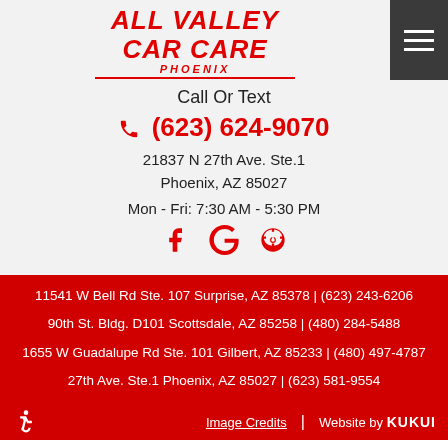[Figure (logo): All Valley Car Care Phoenix logo in red italic bold text with red underline]
Call Or Text
(623) 624-9070
21837 N 27th Ave. Ste.1
Phoenix, AZ 85027
Mon - Fri: 7:30 AM - 5:30 PM
[Figure (logo): Social media icons: Facebook (f), Google (G), Yelp (asterisk/flower)]
11541 W Bell Rd Ste. 107 Surprise, AZ 85378 | (623) 243-6206
90th St. Bldg. D101 Scottsdale, AZ 85258 | (480) 284-5488
1655 W Guadalupe Rd Ste. 101 Gilbert, AZ 85233 | (480) 497-4787
27th Ave. Ste.1 Phoenix, AZ 85027 | (623) 581-9554
Image Credits | Website by KUKUI